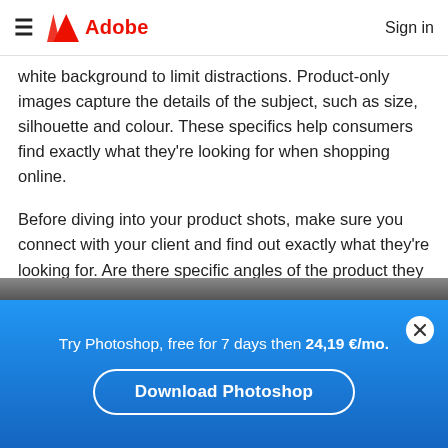Adobe
white background to limit distractions. Product-only images capture the details of the subject, such as size, silhouette and colour. These specifics help consumers find exactly what they're looking for when shopping online.
Before diving into your product shots, make sure you connect with your client and find out exactly what they're looking for. Are there specific angles of the product they need to get? Does the label need to be visible in every shot? Planning makes perfect, so gather the info you need before setting up your photo shoot.
[Figure (photo): Partial view of a product photography setup, shown at bottom of page]
Try Photoshop, free for 7 days then 24,19 €/mo.
Download Photoshop